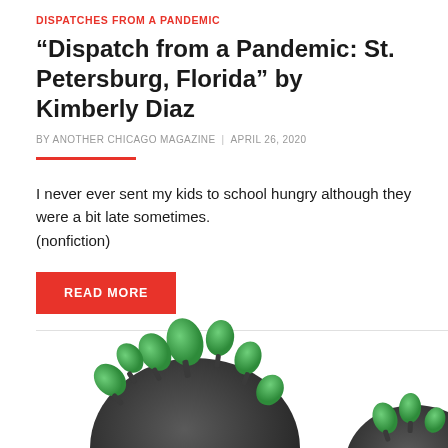DISPATCHES FROM A PANDEMIC
“Dispatch from a Pandemic: St. Petersburg, Florida” by Kimberly Diaz
BY ANOTHER CHICAGO MAGAZINE | APRIL 26, 2020
I never ever sent my kids to school hungry although they were a bit late sometimes.
(nonfiction)
READ MORE
[Figure (illustration): Two illustrated coronavirus particles with dark grey spherical bodies and green spike proteins, shown partially cropped at the bottom of the page.]